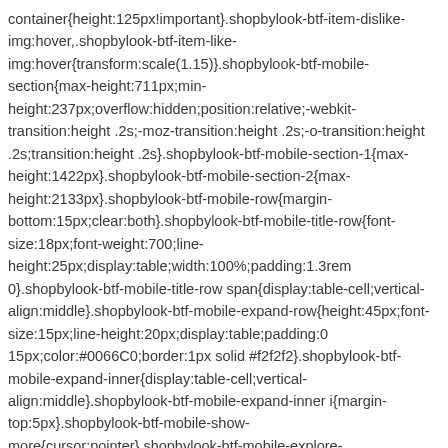container{height:125px!important}.shopbylook-btf-item-dislike-img:hover,.shopbylook-btf-item-like-img:hover{transform:scale(1.15)}.shopbylook-btf-mobile-section{max-height:711px;min-height:237px;overflow:hidden;position:relative;-webkit-transition:height .2s;-moz-transition:height .2s;-o-transition:height .2s;transition:height .2s}.shopbylook-btf-mobile-section-1{max-height:1422px}.shopbylook-btf-mobile-section-2{max-height:2133px}.shopbylook-btf-mobile-row{margin-bottom:15px;clear:both}.shopbylook-btf-mobile-title-row{font-size:18px;font-weight:700;line-height:25px;display:table;width:100%;padding:1.3rem 0}.shopbylook-btf-mobile-title-row span{display:table-cell;vertical-align:middle}.shopbylook-btf-mobile-expand-row{height:45px;font-size:15px;line-height:20px;display:table;padding:0 15px;color:#0066C0;border:1px solid #f2f2f2}.shopbylook-btf-mobile-expand-inner{display:table-cell;vertical-align:middle}.shopbylook-btf-mobile-expand-inner i{margin-top:5px}.shopbylook-btf-mobile-show-more{cursor:pointer}.shopbylook-btf-mobile-explore-sbl{display:none}.shopbylook-btf-mobile-hr-bottom{margin-bottom:0!important}.shopbylook-prime